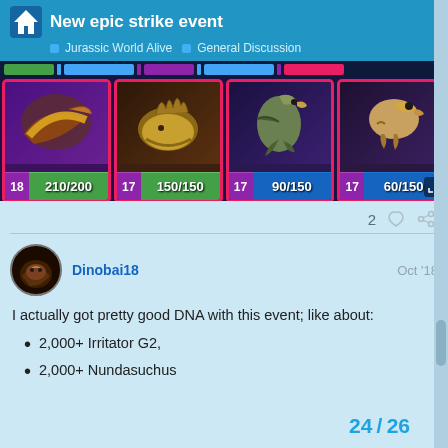New epic strike event — Jurassic World Alive › General Discussion
[Figure (screenshot): Game screenshot showing four dinosaur cards with levels and DNA counts: level 18 Pterosaur 210/200 (green), level 17 Stegosaur 150/150 (green), level 17 Bird 90/150 (blue), level 17 T-Rex 60/150 (blue)]
2 ♡ 🔗
Dinobai18   Oct '18
I actually got pretty good DNA with this event; like about:
2,000+ Irritator G2,
2,000+ Nundasuchus
24 / 26